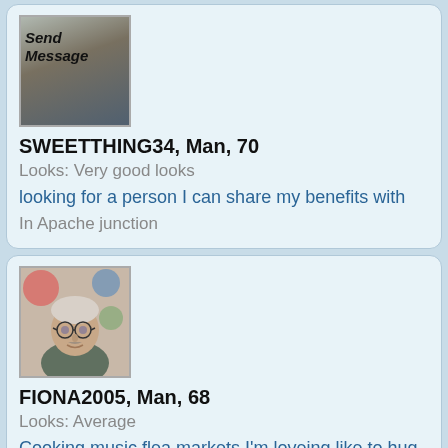[Figure (photo): Profile photo for SWEETTHING34 showing torso of a man, with 'Send Message' text overlay]
SWEETTHING34, Man, 70
Looks: Very good looks
looking for a person I can share my benefits with
In Apache junction
[Figure (photo): Profile photo for FIONA2005 showing an older man with glasses outdoors]
FIONA2005, Man, 68
Looks: Average
Cooking,music,flea markets,I'm loveing,like to hug and snuggle Etc: